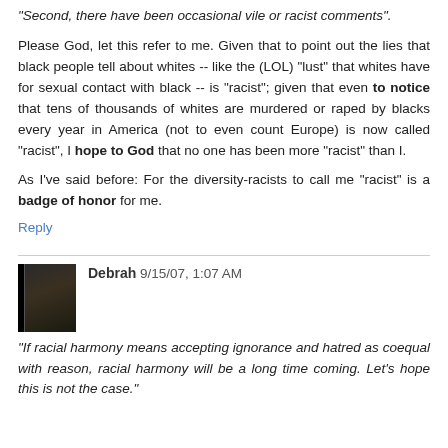"Second, there have been occasional vile or racist comments".
Please God, let this refer to me. Given that to point out the lies that black people tell about whites -- like the (LOL) "lust" that whites have for sexual contact with black -- is "racist"; given that even to notice that tens of thousands of whites are murdered or raped by blacks every year in America (not to even count Europe) is now called "racist", I hope to God that no one has been more "racist" than I.
As I've said before: For the diversity-racists to call me "racist" is a badge of honor for me.
Reply
Debrah 9/15/07, 1:07 AM
"If racial harmony means accepting ignorance and hatred as coequal with reason, racial harmony will be a long time coming. Let's hope this is not the case."